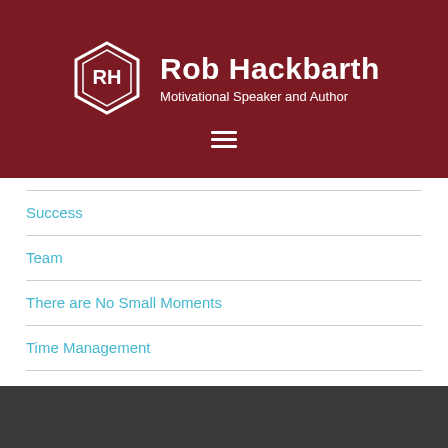Rob Hackbarth – Motivational Speaker and Author
Success
Team
There are No Small Moments
Time Management
Uncategorized